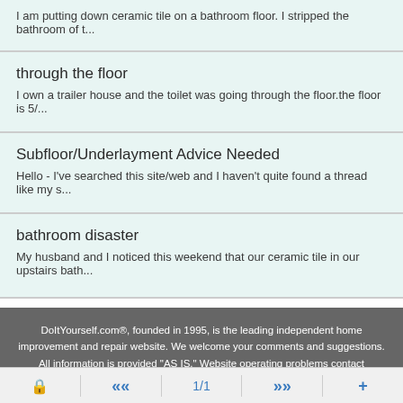I am putting down ceramic tile on a bathroom floor. I stripped the bathroom of t...
through the floor
I own a trailer house and the toilet was going through the floor.the floor is 5/...
Subfloor/Underlayment Advice Needed
Hello - I've searched this site/web and I haven't quite found a thread like my s...
bathroom disaster
My husband and I noticed this weekend that our ceramic tile in our upstairs bath...
DoItYourself.com®, founded in 1995, is the leading independent home improvement and repair website. We welcome your comments and suggestions. All information is provided "AS IS." Website operating problems contact Webmaster. Questions of a Do It Yourself nature should be submitted to our "DoItYourself.com Community Forums".
🔒  «  1/1  »  +